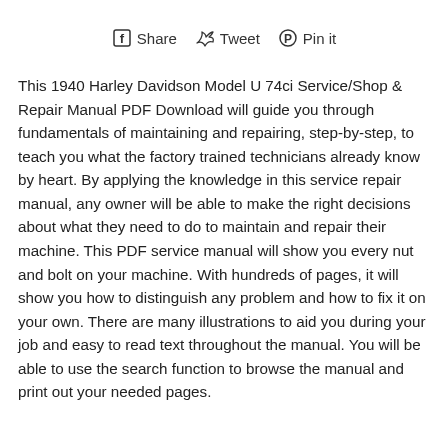[Figure (other): Social sharing bar with Facebook Share, Twitter Tweet, and Pinterest Pin it icons and labels]
This 1940 Harley Davidson Model U 74ci Service/Shop & Repair Manual PDF Download will guide you through fundamentals of maintaining and repairing, step-by-step, to teach you what the factory trained technicians already know by heart. By applying the knowledge in this service repair manual, any owner will be able to make the right decisions about what they need to do to maintain and repair their machine. This PDF service manual will show you every nut and bolt on your machine. With hundreds of pages, it will show you how to distinguish any problem and how to fix it on your own. There are many illustrations to aid you during your job and easy to read text throughout the manual. You will be able to use the search function to browse the manual and print out your needed pages.